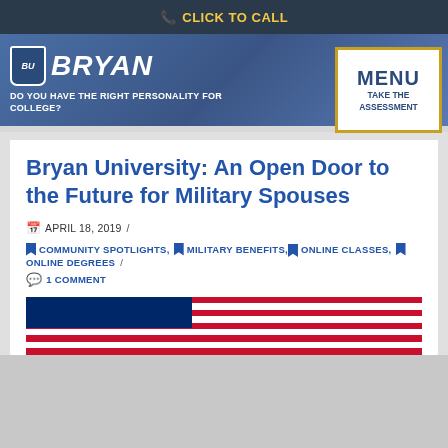CLICK TO CALL
[Figure (logo): Bryan University logo with shield and navigation bar including MENU and TAKE THE ASSESSMENT button, tagline DO YOU HAVE THE RIGHT PERSONALITY FOR COLLEGE?]
Bryan University: An Open Door to the Future for Military Spouses
APRIL 18, 2019 /
COMMUNITY SPOTLIGHTS, MILITARY BENEFITS, ONLINE CLASSES, ONLINE DEGREES /
1 COMMENT
[Figure (photo): American flag photo at the bottom of the page]